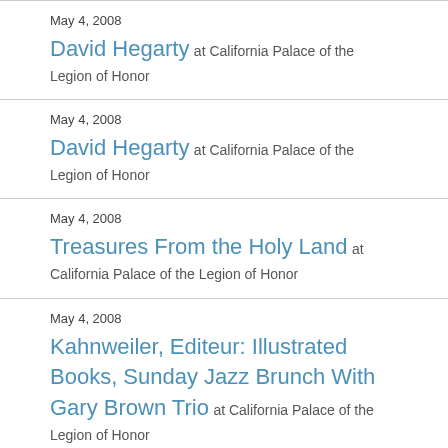May 4, 2008
David Hegarty at California Palace of the Legion of Honor
May 4, 2008
David Hegarty at California Palace of the Legion of Honor
May 4, 2008
Treasures From the Holy Land at California Palace of the Legion of Honor
May 4, 2008
Kahnweiler, Editeur: Illustrated Books, Sunday Jazz Brunch With Gary Brown Trio at California Palace of the Legion of Honor